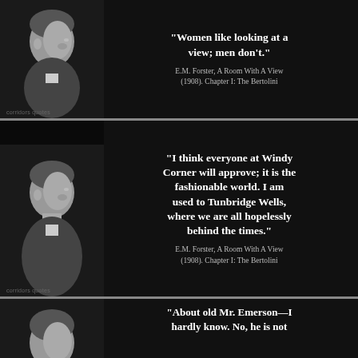[Figure (photo): Black and white portrait photo of E.M. Forster in profile, looking to the right, wearing a suit]
“Women like looking at a view; men don’t.”
E.M. Forster, A Room With A View (1908). Chapter I: The Bertolini
[Figure (photo): Black and white portrait photo of E.M. Forster in profile, looking down, wearing a suit]
“I think everyone at Windy Corner will approve; it is the fashionable world. I am used to Tunbridge Wells, where we are all hopelessly behind the times.”
E.M. Forster, A Room With A View (1908). Chapter I: The Bertolini
[Figure (photo): Black and white partial portrait photo of E.M. Forster, cropped]
“About old Mr. Emerson—I hardly know. No, he is not b…